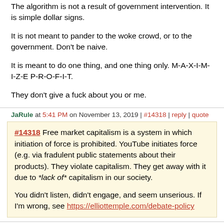The algorithm is not a result of government intervention. It is simple dollar signs.
It is not meant to pander to the woke crowd, or to the government. Don't be naive.
It is meant to do one thing, and one thing only. M-A-X-I-M-I-Z-E P-R-O-F-I-T.
They don't give a fuck about you or me.
JaRule at 5:41 PM on November 13, 2019 | #14318 | reply | quote
#14318 Free market capitalism is a system in which initiation of force is prohibited. YouTube initiates force (e.g. via fradulent public statements about their products). They violate capitalism. They get away with it due to *lack of* capitalism in our society.

You didn't listen, didn't engage, and seem unserious. If I'm wrong, see https://elliottemple.com/debate-policy
curi at 5:43 PM on November 13, 2019 | #14319 | reply | quote
You libertarians and your utopian dreams.
And you call me unserious. Get a PhD in economics and then we'll debate.